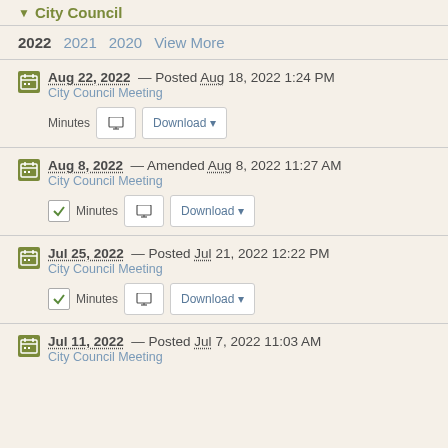City Council
2022  2021  2020  View More
Aug 22, 2022 — Posted Aug 18, 2022 1:24 PM
City Council Meeting
Minutes  Download
Aug 8, 2022 — Amended Aug 8, 2022 11:27 AM
City Council Meeting
Minutes  Download
Jul 25, 2022 — Posted Jul 21, 2022 12:22 PM
City Council Meeting
Minutes  Download
Jul 11, 2022 — Posted Jul 7, 2022 11:03 AM
City Council Meeting